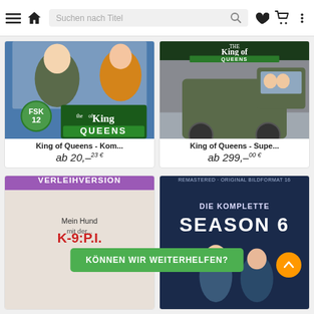[Figure (screenshot): Mobile app navigation bar with hamburger menu, home icon, search field 'Suchen nach Titel', heart icon, cart icon, and vertical dots menu]
[Figure (photo): King of Queens Blu-ray cover showing characters FSK 12]
King of Queens - Kom...
ab 20,– 23€
[Figure (photo): King of Queens Super box set cover with truck]
King of Queens - Supe...
ab 299,– 00€
[Figure (photo): Verleihversion DVD cover - Mein Hund K-9 P.I.]
[Figure (photo): Remastered Season 6 DVD cover]
KÖNNEN WIR WEITERHELFEN?